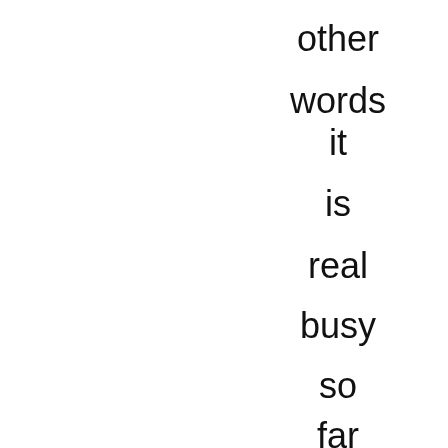other
words
it
is
real
busy
so
far